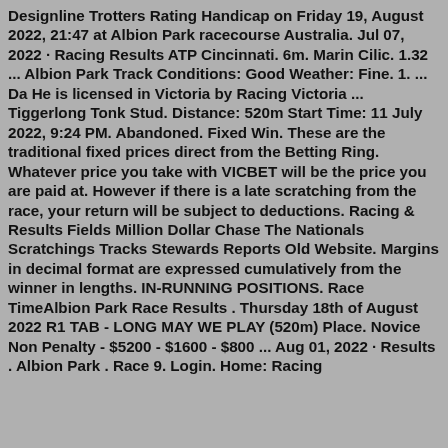Designline Trotters Rating Handicap on Friday 19, August 2022, 21:47 at Albion Park racecourse Australia. Jul 07, 2022 · Racing Results ATP Cincinnati. 6m. Marin Cilic. 1.32 ... Albion Park Track Conditions: Good Weather: Fine. 1. ... Da He is licensed in Victoria by Racing Victoria ... Tiggerlong Tonk Stud. Distance: 520m Start Time: 11 July 2022, 9:24 PM. Abandoned. Fixed Win. These are the traditional fixed prices direct from the Betting Ring. Whatever price you take with VICBET will be the price you are paid at. However if there is a late scratching from the race, your return will be subject to deductions. Racing & Results Fields Million Dollar Chase The Nationals Scratchings Tracks Stewards Reports Old Website. Margins in decimal format are expressed cumulatively from the winner in lengths. IN-RUNNING POSITIONS. Race TimeAlbion Park Race Results . Thursday 18th of August 2022 R1 TAB - LONG MAY WE PLAY (520m) Place. Novice Non Penalty - $5200 - $1600 - $800 ... Aug 01, 2022 · Results . Albion Park . Race 9. Login. Home: Racing